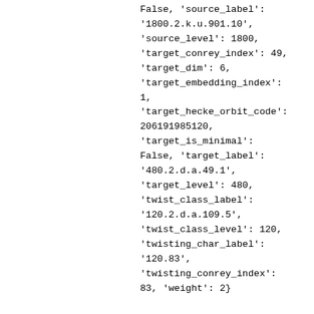False, 'source_label': '1800.2.k.u.901.10', 'source_level': 1800, 'target_conrey_index': 49, 'target_dim': 6, 'target_embedding_index': 1, 'target_hecke_orbit_code': 206191985120, 'target_is_minimal': False, 'target_label': '480.2.d.a.49.1', 'target_level': 480, 'twist_class_label': '120.2.d.a.109.5', 'twist_class_level': 120, 'twisting_char_label': '120.83', 'twisting_conrey_index': 83, 'weight': 2}